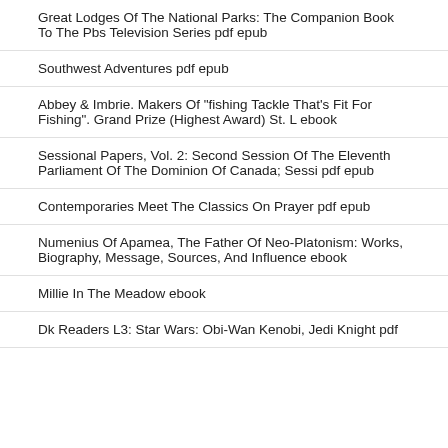Great Lodges Of The National Parks: The Companion Book To The Pbs Television Series pdf epub
Southwest Adventures pdf epub
Abbey & Imbrie. Makers Of "fishing Tackle That's Fit For Fishing". Grand Prize (Highest Award) St. L ebook
Sessional Papers, Vol. 2: Second Session Of The Eleventh Parliament Of The Dominion Of Canada; Sessi pdf epub
Contemporaries Meet The Classics On Prayer pdf epub
Numenius Of Apamea, The Father Of Neo-Platonism: Works, Biography, Message, Sources, And Influence ebook
Millie In The Meadow ebook
Dk Readers L3: Star Wars: Obi-Wan Kenobi, Jedi Knight pdf